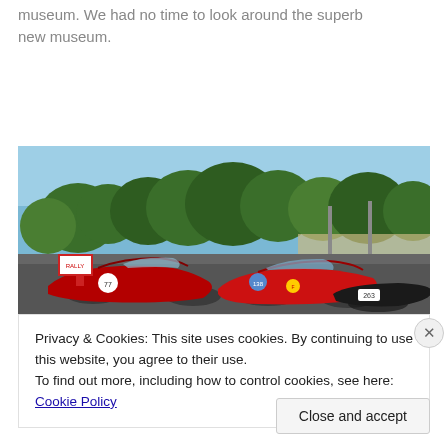museum. We had no time to look around the superb new museum.
[Figure (photo): Outdoor photo of classic racing cars including red Ferraris and other vintage race cars parked in a lot, with trees and a racetrack barrier in the background, and a person standing near one of the cars.]
Privacy & Cookies: This site uses cookies. By continuing to use this website, you agree to their use.
To find out more, including how to control cookies, see here: Cookie Policy
Close and accept